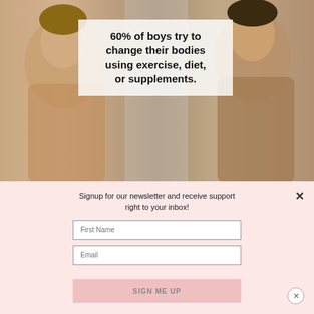[Figure (photo): Two teenage boys appearing to look in a mirror; semi-transparent white overlay box contains text about body image statistics]
60% of boys try to change their bodies using exercise, diet, or supplements.
Signup for our newsletter and receive support right to your inbox!
First Name
Email
SIGN ME UP